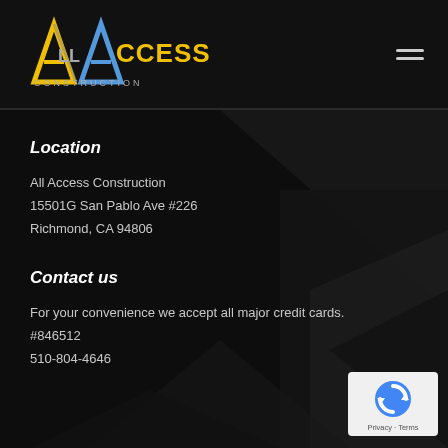[Figure (logo): All Access Construction logo with yellow and blue/grey A letters and 'CONSTRUCTION' text below]
Location
All Access Construction
15501G San Pablo Ave #226
Richmond, CA 94806
Contact us
For your convenience we accept all major credit cards.
#846512
510-804-4646
[Figure (other): Google reCAPTCHA badge with Privacy and Terms links]